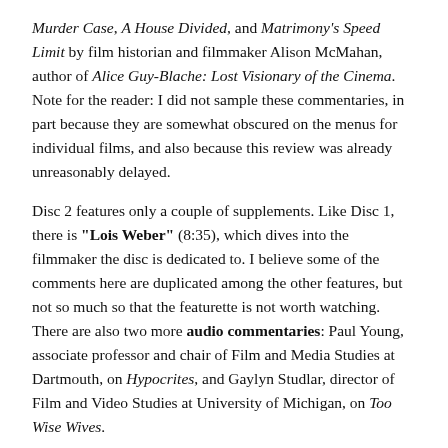Murder Case, A House Divided, and Matrimony's Speed Limit by film historian and filmmaker Alison McMahan, author of Alice Guy-Blache: Lost Visionary of the Cinema. Note for the reader: I did not sample these commentaries, in part because they are somewhat obscured on the menus for individual films, and also because this review was already unreasonably delayed.
Disc 2 features only a couple of supplements. Like Disc 1, there is "Lois Weber" (8:35), which dives into the filmmaker the disc is dedicated to. I believe some of the comments here are duplicated among the other features, but not so much so that the featurette is not worth watching. There are also two more audio commentaries: Paul Young, associate professor and chair of Film and Media Studies at Dartmouth, on Hypocrites, and Gaylyn Studlar, director of Film and Video Studies at University of Michigan, on Too Wise Wives.
Disc 3 has two video documentaries, one on "Mabel Normand" (7:56), and the other on "Serial Queens" (7:01). The one on serial stars is particularly interesting, as the serials only survive today in the form of a...